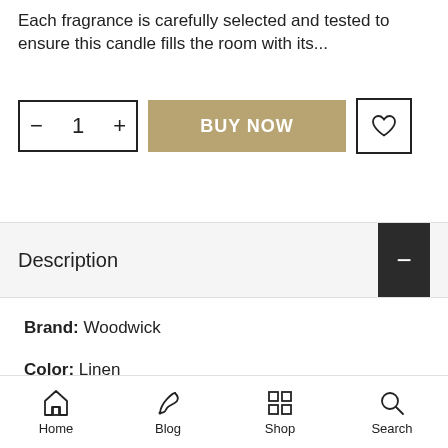Each fragrance is carefully selected and tested to ensure this candle fills the room with its...
[Figure (screenshot): E-commerce product controls: quantity selector (minus, 1, plus), BUY NOW button in tan/gold color, and heart/wishlist button]
Description
Brand: Woodwick
Color: Linen
Features:
Home  Blog  Shop  Search